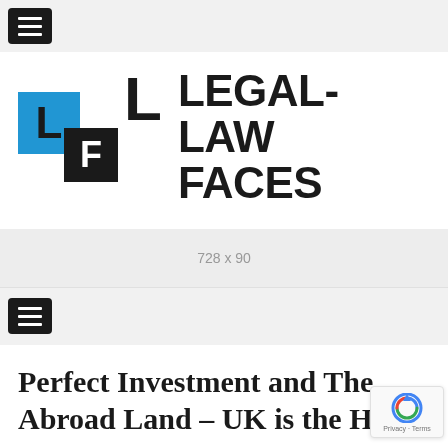[Figure (logo): Legal-Law Faces website logo with hamburger menu icon at top-left, blue square with 'L', black square with 'F', standalone 'L' letter, and text LEGAL-LAW FACES]
[Figure (other): Advertisement placeholder banner showing '728 x 90']
[Figure (other): Second hamburger navigation menu icon]
Perfect Investment and The Abroad Land – UK is the Have